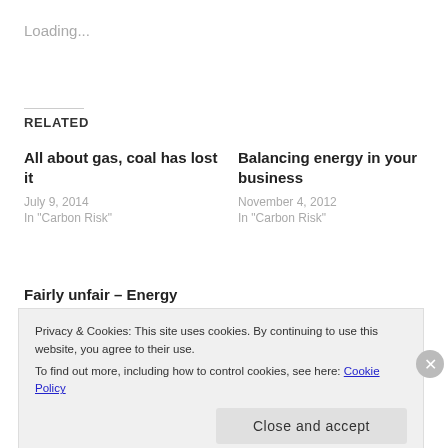Loading...
RELATED
All about gas, coal has lost it
July 9, 2014
In "Carbon Risk"
Balancing energy in your business
November 4, 2012
In "Carbon Risk"
Fairly unfair – Energy Network price setting
November 30, 2014
In "Carbon Competition &
Privacy & Cookies: This site uses cookies. By continuing to use this website, you agree to their use.
To find out more, including how to control cookies, see here: Cookie Policy
Close and accept